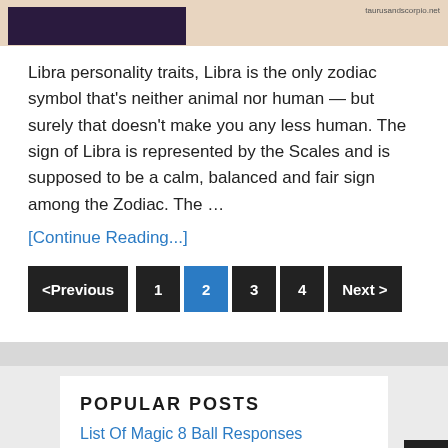[Figure (photo): Partial image at top with dark purple/navy image on left and watermark 'taurusandscorpio.net' on right, on a beige/tan background]
Libra personality traits, Libra is the only zodiac symbol that's neither animal nor human — but surely that doesn't make you any less human. The sign of Libra is represented by the Scales and is supposed to be a calm, balanced and fair sign among the Zodiac. The …
[Continue Reading...]
<Previous  1  2  3  4  Next >
POPULAR POSTS
List Of Magic 8 Ball Responses